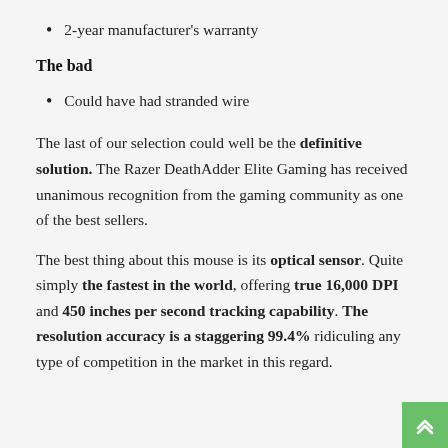2-year manufacturer's warranty
The bad
Could have had stranded wire
The last of our selection could well be the definitive solution. The Razer DeathAdder Elite Gaming has received unanimous recognition from the gaming community as one of the best sellers.
The best thing about this mouse is its optical sensor. Quite simply the fastest in the world, offering true 16,000 DPI and 450 inches per second tracking capability. The resolution accuracy is a staggering 99.4% ridiculing any type of competition in the market in this regard.